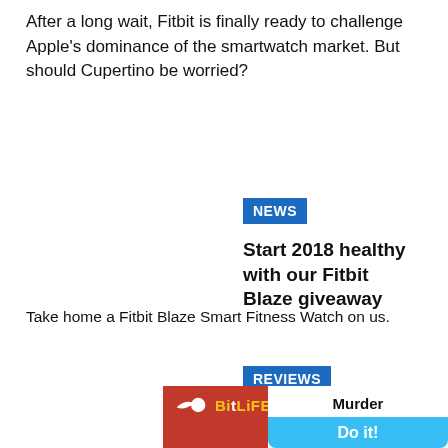After a long wait, Fitbit is finally ready to challenge Apple's dominance of the smartwatch market. But should Cupertino be worried?
NEWS
Start 2018 healthy with our Fitbit Blaze giveaway
Take home a Fitbit Blaze Smart Fitness Watch on us.
REVIEWS
Fitbit Alta HR Fitness Wristband Review
Following up on last year's casual-focused Alta, Fitbit gifts its successor with heart rate tracking, in the same slim line profile.
[Figure (other): BitLife advertisement banner with red background, BitLife logo with sperm icon in yellow text, and a 'Murder / Do it!' call-to-action with a light blue pill button on the right side.]